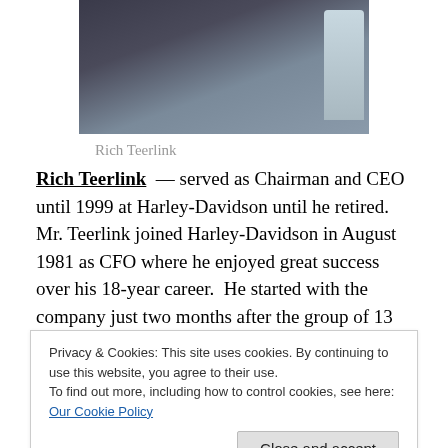[Figure (photo): Photograph of Rich Teerlink, a man in a dark suit jacket]
Rich Teerlink
Rich Teerlink — served as Chairman and CEO until 1999 at Harley-Davidson until he retired. Mr. Teerlink joined Harley-Davidson in August 1981 as CFO where he enjoyed great success over his 18-year career. He started with the company just two months after the group of 13
Privacy & Cookies: This site uses cookies. By continuing to use this website, you agree to their use.
To find out more, including how to control cookies, see here: Our Cookie Policy
the Harley Owners Group (HOG) in 1983. Mr. Teerlink